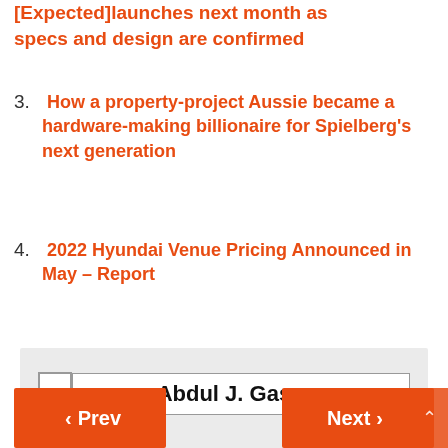[Expected]launches next month as specs and design are confirmed
3. How a property-project Aussie became a hardware-making billionaire for Spielberg's next generation
4. 2022 Hyundai Venue Pricing Announced in May – Report
Abdul J. Gaspar
Prev
Next